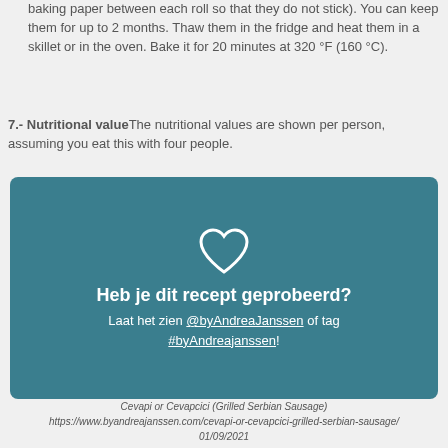baking paper between each roll so that they do not stick). You can keep them for up to 2 months. Thaw them in the fridge and heat them in a skillet or in the oven. Bake it for 20 minutes at 320 °F (160 °C).
7.- Nutritional value The nutritional values are shown per person, assuming you eat this with four people.
[Figure (infographic): Teal rounded rectangle with a white heart outline icon, bold white text 'Heb je dit recept geprobeerd?', and white text 'Laat het zien @byAndreaJanssen of tag #byAndreajanssen!']
Cevapi or Cevapcici (Grilled Serbian Sausage)
https://www.byandreajanssen.com/cevapi-or-cevapcici-grilled-serbian-sausage/
01/09/2021